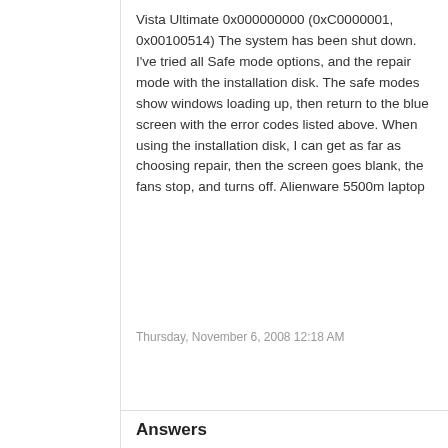Vista Ultimate 0x000000000 (0xC0000001, 0x00100514) The system has been shut down. I've tried all Safe mode options, and the repair mode with the installation disk. The safe modes show windows loading up, then return to the blue screen with the error codes listed above. When using the installation disk, I can get as far as choosing repair, then the screen goes blank, the fans stop, and turns off. Alienware 5500m laptop
Thursday, November 6, 2008 12:18 AM
Answers